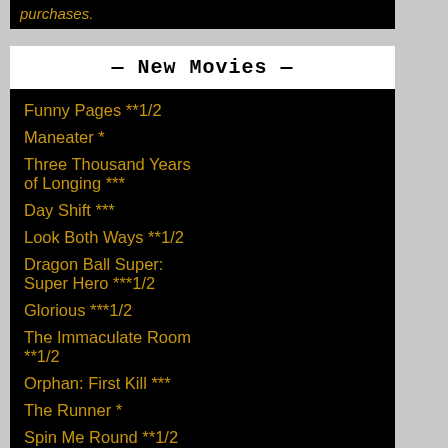purchases.
— New Movies —
Funny Pages **1/2
Maneater *
Three Thousand Years of Longing ***
Day Shift ***
Look Both Ways **1/2
Dragon Ball Super: Super Hero ***1/2
Glorious ***1/2
The Immaculate Room **1/2
Orphan: First Kill ***
The Runner *
Spin Me Round **1/2
Emily the Criminal ***
Fall **1/2
[Figure (logo): AllPosters.com red badge logo]
Get the Poster
Stream it:
[Figure (logo): Amazon logo icon]
Amazon
[Figure (logo): Apple/iTunes logo icon]
iTunes
Own it:
[Figure (logo): Amazon logo icon]
DVD
[Figure (logo): Amazon logo icon]
Blu-ray